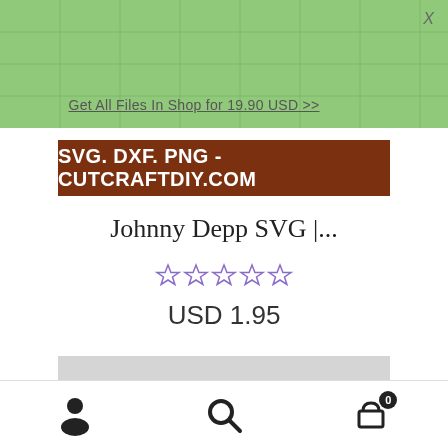Get All Files In Shop for 19.90 USD >>
SVG. DXF. PNG - CUTCRAFTDIY.COM
Johnny Depp SVG |...
☆☆☆☆☆
USD 1.95
Add to cart
[Figure (photo): Gray t-shirt product photo]